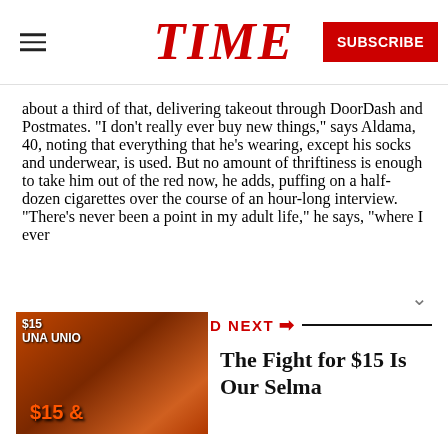TIME | SUBSCRIBE
about a third of that, delivering takeout through DoorDash and Postmates. “I don’t really ever buy new things,” says Aldama, 40, noting that everything that he’s wearing, except his socks and underwear, is used. But no amount of thriftiness is enough to take him out of the red now, he adds, puffing on a half-dozen cigarettes over the course of an hour-long interview. “There’s never been a point in my adult life,” he says, “where I ever
READ NEXT
[Figure (photo): Protest photo showing people holding $15 minimum wage signs and UNA UNION banners]
The Fight for $15 Is Our Selma